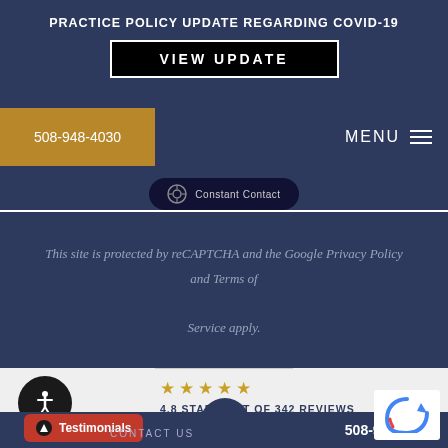PRACTICE POLICY UPDATE REGARDING COVID-19
VIEW UPDATE
508-948-4030
MENU
Constant Contact
This site is protected by reCAPTCHA and the Google Privacy Policy and Terms of Service apply.
4.8 STARS OUT OF 342 REVIEWS
Testimonials
CONTACT US
508-948-4030